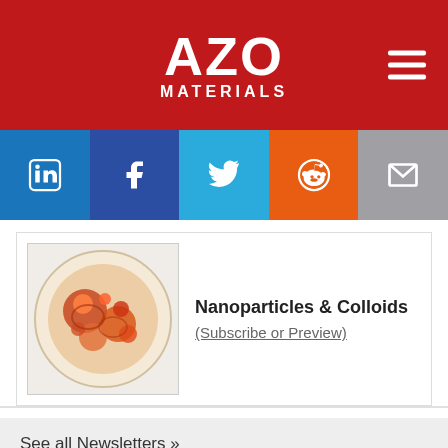AZO MATERIALS
[Figure (logo): AZO Materials logo with red background, white bold AZO text and MATERIALS subtitle, hamburger menu icon on right]
[Figure (infographic): Social media sharing bar with LinkedIn (blue), Facebook (dark blue), Twitter (light blue), Reddit (orange), and Email (gray) icons]
[Figure (photo): Nanoparticles & Colloids newsletter thumbnail showing circular nanoparticle imagery in red and orange tones]
Nanoparticles & Colloids (Subscribe or Preview)
See all Newsletters »
We use cookies to enhance your experience. By continuing to browse this site you agree to our use of cookies. More info.
✓ Accept   Cookie Settings